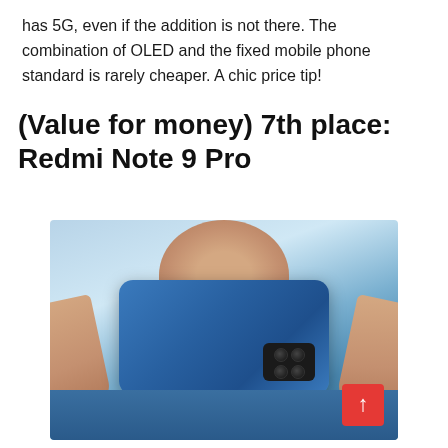has 5G, even if the addition is not there. The combination of OLED and the fixed mobile phone standard is rarely cheaper. A chic price tip!
(Value for money) 7th place: Redmi Note 9 Pro
[Figure (photo): A person holding up a blue Redmi Note 9 Pro smartphone showing its back with quad camera module, photographing themselves]